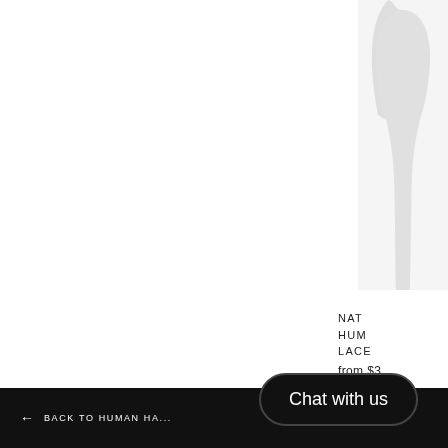[Figure (photo): Partial product image of a wig or hair piece, shown cropped at the top-right corner of the page, light gray silhouette on white background]
NAT HUMAN LACE
from $3
← BACK TO HUMAN HA...
Chat with us